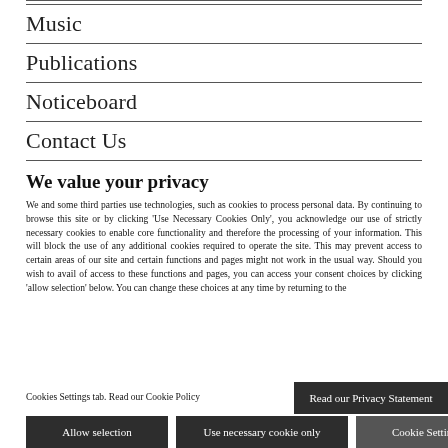Music
Publications
Noticeboard
Contact Us
We value your privacy
We and some third parties use technologies, such as cookies to process personal data. By continuing to browse this site or by clicking 'Use Necessary Cookies Only', you acknowledge our use of strictly necessary cookies to enable core functionality and therefore the processing of your information. This will block the use of any additional cookies required to operate the site. This may prevent access to certain areas of our site and certain functions and pages might not work in the usual way. Should you wish to avail of access to these functions and pages, you can access your consent choices by clicking 'allow selection' below. You can change these choices at any time by returning to the
Cookies Settings tab. Read our Cookie Policy
Read our Privacy Statement
Allow selection
Use necessary cookie only
Cookie Settings